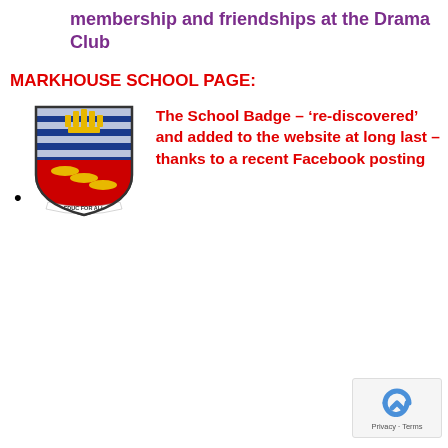membership and friendships at the Drama Club
MARKHOUSE SCHOOL PAGE:
The School Badge – ‘re-discovered’ and added to the website at long last – thanks to a recent Facebook posting
[Figure (illustration): Markhouse School badge/crest — shield with gold crown motif at top on blue and white striped upper section, three gold fish/boar heads on red lower section, and a banner at the bottom reading 'EDUC FOR ALL']